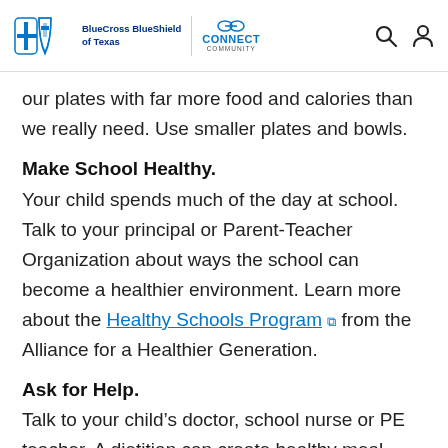BlueCross BlueShield of Texas | CONNECT COMMUNITY
our plates with far more food and calories than we really need. Use smaller plates and bowls.
Make School Healthy.
Your child spends much of the day at school. Talk to your principal or Parent-Teacher Organization about ways the school can become a healthier environment. Learn more about the Healthy Schools Program from the Alliance for a Healthier Generation.
Ask for Help.
Talk to your child’s doctor, school nurse or PE teacher. A dietitian can create healthy meal plans. Many